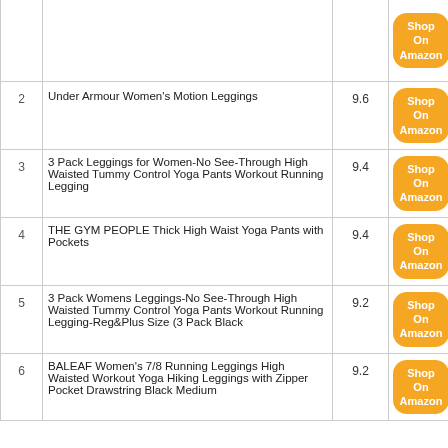| # | Product | Score | Shop |
| --- | --- | --- | --- |
| 2 | Under Armour Women's Motion Leggings | 9.6 | Shop On Amazon |
| 3 | 3 Pack Leggings for Women-No See-Through High Waisted Tummy Control Yoga Pants Workout Running Legging | 9.4 | Shop On Amazon |
| 4 | THE GYM PEOPLE Thick High Waist Yoga Pants with Pockets | 9.4 | Shop On Amazon |
| 5 | 3 Pack Womens Leggings-No See-Through High Waisted Tummy Control Yoga Pants Workout Running Legging-Reg&Plus Size (3 Pack Black | 9.2 | Shop On Amazon |
| 6 | BALEAF Women's 7/8 Running Leggings High Waisted Workout Yoga Hiking Leggings with Zipper Pocket Drawstring Black Medium | 9.2 | Shop On Amazon |